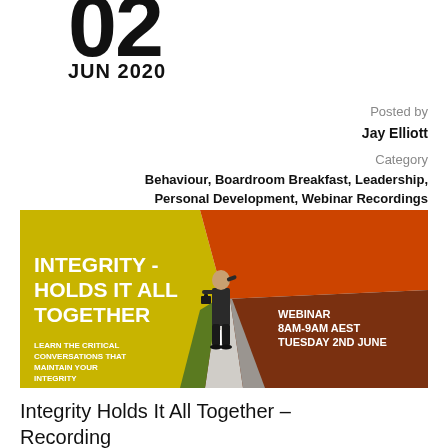02
JUN 2020
Posted by
Jay Elliott
Category
Behaviour, Boardroom Breakfast, Leadership, Personal Development, Webinar Recordings
[Figure (illustration): Webinar promotional image: man in suit standing at a crossroads path with bold text reading 'INTEGRITY - HOLDS IT ALL TOGETHER', event details 'WEBINAR 8AM-9AM AEST TUESDAY 2ND JUNE', and sub-text 'LEARN THE CRITICAL CONVERSATIONS THAT MAINTAIN YOUR INTEGRITY'. Background has orange, yellow, dark brown and grey sections.]
Integrity Holds It All Together – Recording